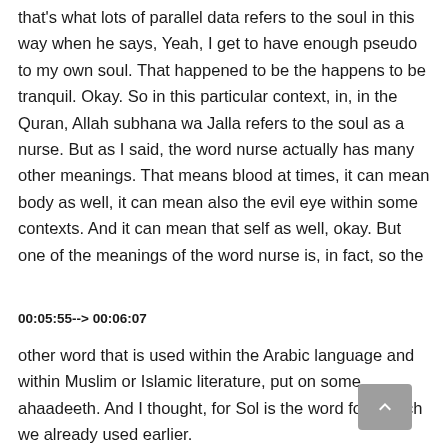that's what lots of parallel data refers to the soul in this way when he says, Yeah, I get to have enough pseudo to my own soul. That happened to be the happens to be tranquil. Okay. So in this particular context, in, in the Quran, Allah subhana wa Jalla refers to the soul as a nurse. But as I said, the word nurse actually has many other meanings. That means blood at times, it can mean body as well, it can mean also the evil eye within some contexts. And it can mean that self as well, okay. But one of the meanings of the word nurse is, in fact, so the
00:05:55--> 00:06:07
other word that is used within the Arabic language and within Muslim or Islamic literature, put on some ahaadeeth. And I thought, for Sol is the word foo, which we already used earlier.